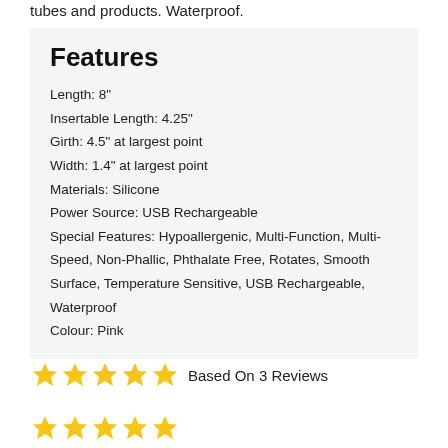tubes and products. Waterproof.
Features
Length: 8"
Insertable Length: 4.25"
Girth: 4.5" at largest point
Width: 1.4" at largest point
Materials: Silicone
Power Source: USB Rechargeable
Special Features: Hypoallergenic, Multi-Function, Multi-Speed, Non-Phallic, Phthalate Free, Rotates, Smooth Surface, Temperature Sensitive, USB Rechargeable, Waterproof
Colour: Pink
Based On 3 Reviews